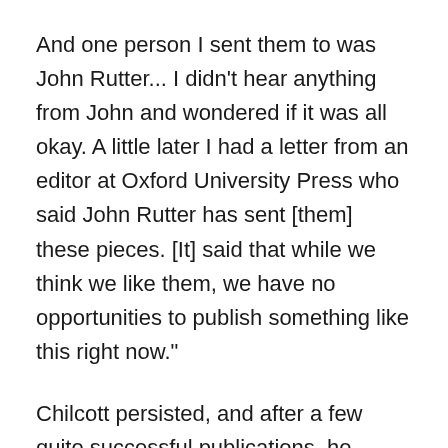And one person I sent them to was John Rutter... I didn't hear anything from John and wondered if it was all okay. A little later I had a letter from an editor at Oxford University Press who said John Rutter has sent [them] these pieces. [It] said that while we think we like them, we have no opportunities to publish something like this right now."
Chilcott persisted, and after a few quite successful publications, he eventually signed a contract with Oxford University Press. He left the King's Singers to compose full time. He also began working as the conductor of the Royal